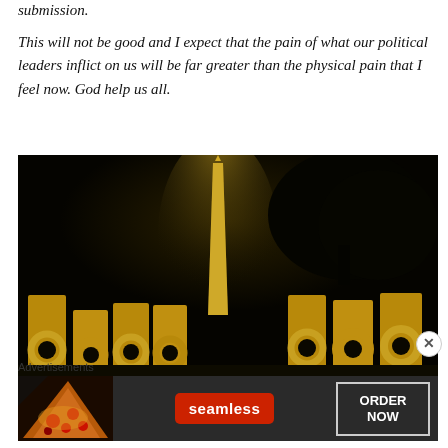submission.
This will not be good and I expect that the pain of what our political leaders inflict on us will be far greater than the physical pain that I feel now. God help us all.
[Figure (photo): Night photograph of the Washington Monument illuminated, with gold/bronze WWII Memorial pillars with wreaths in the foreground against a dark sky.]
Advertisements
[Figure (screenshot): Seamless food delivery advertisement banner showing pizza on the left, Seamless logo in red in the center, and ORDER NOW button on the right, on a dark background.]